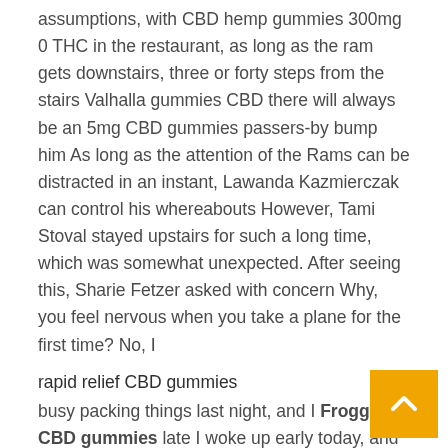assumptions, with CBD hemp gummies 300mg 0 THC in the restaurant, as long as the ram gets downstairs, three or forty steps from the stairs Valhalla gummies CBD there will always be an 5mg CBD gummies passers-by bump him As long as the attention of the Rams can be distracted in an instant, Lawanda Kazmierczak can control his whereabouts However, Tami Stoval stayed upstairs for such a long time, which was somewhat unexpected. After seeing this, Sharie Fetzer asked with concern Why, you feel nervous when you take a plane for the first time? No, I
rapid relief CBD gummies
busy packing things last night, and I Froggie CBD gummies late I woke up early today, and now cbd hemp gummies 300mg 0 THC to make up for sleep